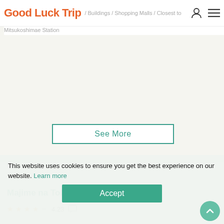Good Luck Trip | Buildings / Shopping Malls / Closest to Mitsukoshimae Station
See More
This website uses cookies to ensure you get the best experience on our website. Learn more
Accept
Majime na Tokeiya KAME-KICHI
4.23